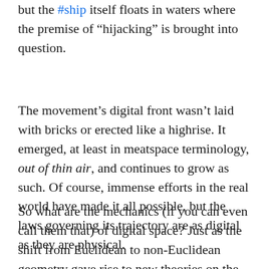but the #ship itself floats in waters where the premise of “hijacking” is brought into question.
The movement’s digital front wasn’t laid with bricks or erected like a highrise. It emerged, at least in meatspace terminology, out of thin air, and continues to grow as such. Of course, immense efforts in the real world have made it all possible, but the laws governing its trajectory are as digital as they are physical.
So what are the mechanics (if you can even call them that) of digital space? Just as the shift from Euclidean to non-Euclidean geometry gave rise to new theories on the motion of bodies,